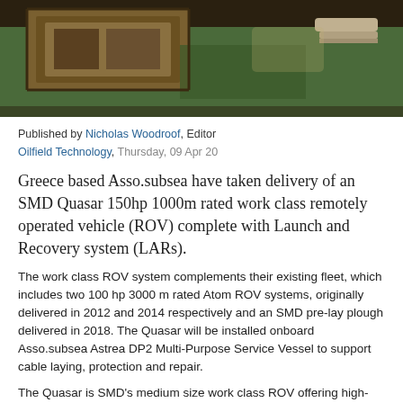[Figure (photo): Industrial equipment or ROV machinery photographed from above, showing wooden/metal frame structures on a green surface]
Published by Nicholas Woodroof, Editor
Oilfield Technology, Thursday, 09 Apr 20
Greece based Asso.subsea have taken delivery of an SMD Quasar 150hp 1000m rated work class remotely operated vehicle (ROV) complete with Launch and Recovery system (LARs).
The work class ROV system complements their existing fleet, which includes two 100 hp 3000 m rated Atom ROV systems, originally delivered in 2012 and 2014 respectively and an SMD pre-lay plough delivered in 2018. The Quasar will be installed onboard Asso.subsea Astrea DP2 Multi-Purpose Service Vessel to support cable laying, protection and repair.
The Quasar is SMD's medium size work class ROV offering high-current performance and good tooling/instrument carrying capability, along with stability in strong currents. It is equally capable of salvage and construction operations using its isolated